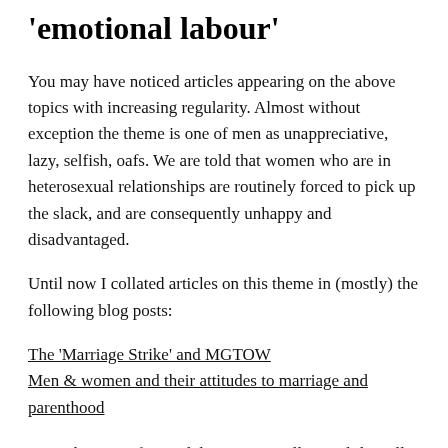'emotional labour'
You may have noticed articles appearing on the above topics with increasing regularity. Almost without exception the theme is one of men as unappreciative, lazy, selfish, oafs. We are told that women who are in heterosexual relationships are routinely forced to pick up the slack, and are consequently unhappy and disadvantaged.
Until now I collated articles on this theme in (mostly) the following blog posts:
The ‘Marriage Strike’ and MGTOW
Men & women and their attitudes to marriage and parenthood
From this point forward, however, I will consolidate all such articles in this new post, and progressively